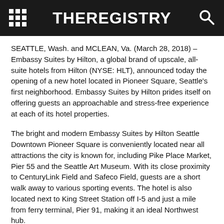THEREGISTRY
SEATTLE, Wash. and MCLEAN, Va. (March 28, 2018) – Embassy Suites by Hilton, a global brand of upscale, all-suite hotels from Hilton (NYSE: HLT), announced today the opening of a new hotel located in Pioneer Square, Seattle's first neighborhood. Embassy Suites by Hilton prides itself on offering guests an approachable and stress-free experience at each of its hotel properties.
The bright and modern Embassy Suites by Hilton Seattle Downtown Pioneer Square is conveniently located near all attractions the city is known for, including Pike Place Market, Pier 55 and the Seattle Art Museum. With its close proximity to CenturyLink Field and Safeco Field, guests are a short walk away to various sporting events. The hotel is also located next to King Street Station off I-5 and just a mile from ferry terminal, Pier 91, making it an ideal Northwest hub.
Owned by American Life and managed by Hilton, this upscale hotel